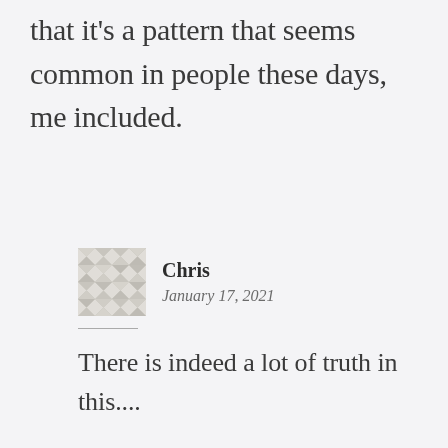that it's a pattern that seems common in people these days, me included.
[Figure (illustration): Avatar/profile image: a square decorative mosaic pattern in muted beige/gray tones, resembling a quilted geometric design.]
Chris
January 17, 2021
There is indeed a lot of truth in this....